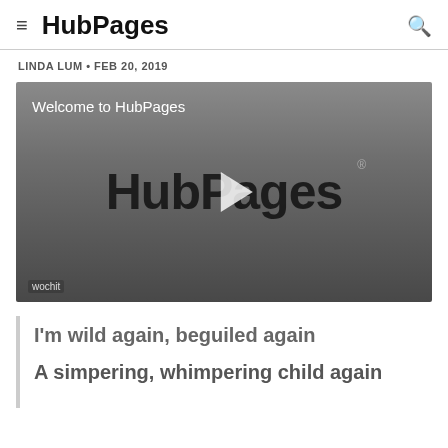≡ HubPages
LINDA LUM • FEB 20, 2019
[Figure (screenshot): Video thumbnail showing 'Welcome to HubPages' text with HubPages logo and play button on a grey gradient background, with 'wochit' watermark in bottom left corner.]
I'm wild again, beguiled again
A simpering, whimpering child again